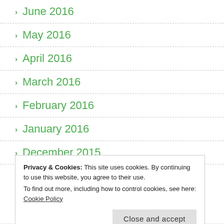June 2016
May 2016
April 2016
March 2016
February 2016
January 2016
December 2015
Privacy & Cookies: This site uses cookies. By continuing to use this website, you agree to their use.
To find out more, including how to control cookies, see here: Cookie Policy
September 2015